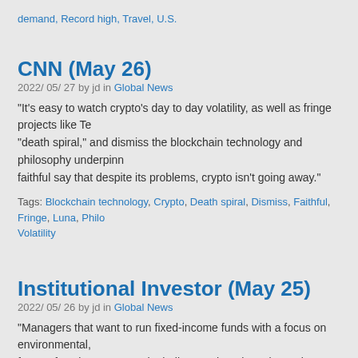demand, Record high, Travel, U.S.
CNN (May 26)
2022/ 05/ 27 by jd in Global News
“It’s easy to watch crypto’s day to day volatility, as well as fringe projects like Te… “death spiral,” and dismiss the blockchain technology and philosophy underpin… faithful say that despite its problems, crypto isn’t going away.”
Tags: Blockchain technology, Crypto, Death spiral, Dismiss, Faithful, Fringe, Luna, Philo… Volatility
Institutional Investor (May 25)
2022/ 05/ 26 by jd in Global News
“Managers that want to run fixed-income funds with a focus on environmental,… factors face larger research challenges than those in stocks. But the massive c… make the uphill battle worth it.” Compared to equities, the “patchwork of standa… of ESG fixed income funds.”